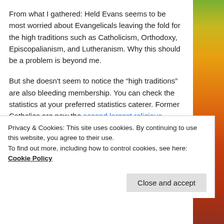From what I gathered: Held Evans seems to be most worried about Evangelicals leaving the fold for the high traditions such as Catholicism, Orthodoxy, Episcopalianism, and Lutheranism. Why this should be a problem is beyond me.
But she doesn't seem to notice the “high traditions” are also bleeding membership. You can check the statistics at your preferred statistics caterer. Former Catholics are now the second largest religious group in the United States, only behind practicing Catholics.
I’m convinced (and I’m not the only one) that Catholicism is blowing its Catholic Moment because it has
Privacy & Cookies: This site uses cookies. By continuing to use this website, you agree to their use.
To find out more, including how to control cookies, see here: Cookie Policy